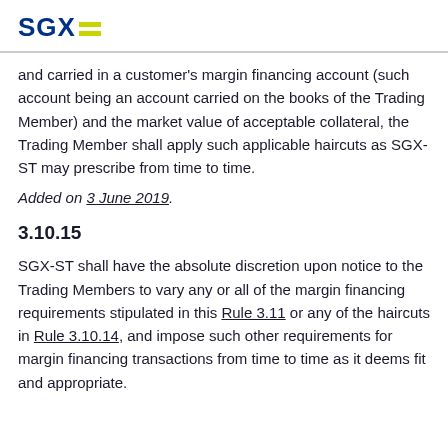SGX
and carried in a customer's margin financing account (such account being an account carried on the books of the Trading Member) and the market value of acceptable collateral, the Trading Member shall apply such applicable haircuts as SGX-ST may prescribe from time to time.
Added on 3 June 2019.
3.10.15
SGX-ST shall have the absolute discretion upon notice to the Trading Members to vary any or all of the margin financing requirements stipulated in this Rule 3.11 or any of the haircuts in Rule 3.10.14, and impose such other requirements for margin financing transactions from time to time as it deems fit and appropriate.